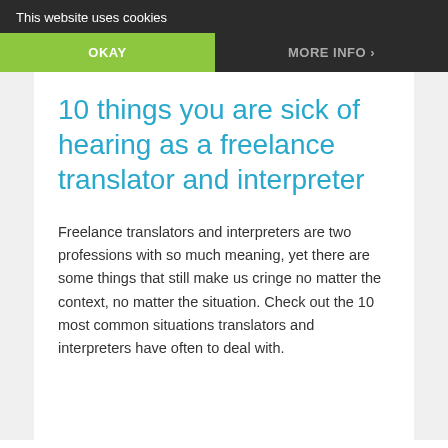This website uses cookies
OKAY
MORE INFO
10 things you are sick of hearing as a freelance translator and interpreter
Freelance translators and interpreters are two professions with so much meaning, yet there are some things that still make us cringe no matter the context, no matter the situation. Check out the 10 most common situations translators and interpreters have often to deal with.